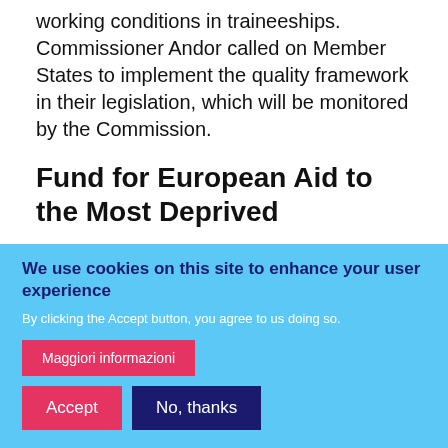working conditions in traineeships. Commissioner Andor called on Member States to implement the quality framework in their legislation, which will be monitored by the Commission.
Fund for European Aid to the Most Deprived
The Council also adopted the Fund for European Aid to the Most Deprived (€3.5 billion over the
We use cookies on this site to enhance your user experience
By clicking the Accept button, you agree to us doing so.
Maggiori informazioni
Accept
No, thanks